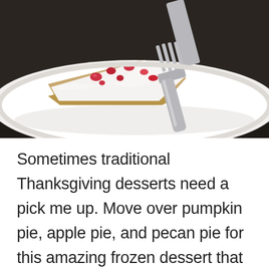[Figure (photo): A photo of a slice of frozen cream pie with red berry pieces on a white plate, with a silver fork resting beside it on a dark granite countertop.]
Sometimes traditional Thanksgiving desserts need a pick me up. Move over pumpkin pie, apple pie, and pecan pie for this amazing frozen dessert that takes two minutes to make and can be just the thing missing from your Thanksgiving table. Fresh, natural, low calorie, and even sugar free if desired, this pie will leave your family